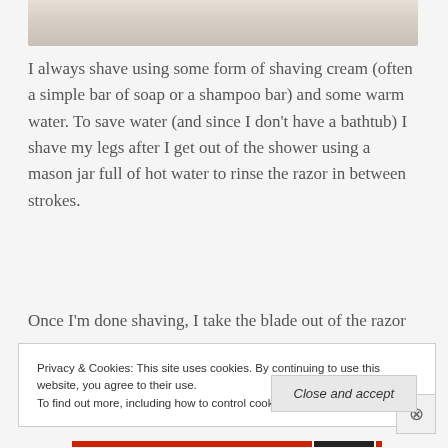[Figure (photo): Bottom portion of a photo showing what appears to be soap or shaving cream, light/white colored object on a light background]
I always shave using some form of shaving cream (often a simple bar of soap or a shampoo bar) and some warm water. To save water (and since I don't have a bathtub) I shave my legs after I get out of the shower using a mason jar full of hot water to rinse the razor in between strokes.
Once I'm done shaving, I take the blade out of the razor
Privacy & Cookies: This site uses cookies. By continuing to use this website, you agree to their use.
To find out more, including how to control cookies, see here: Cookie Policy